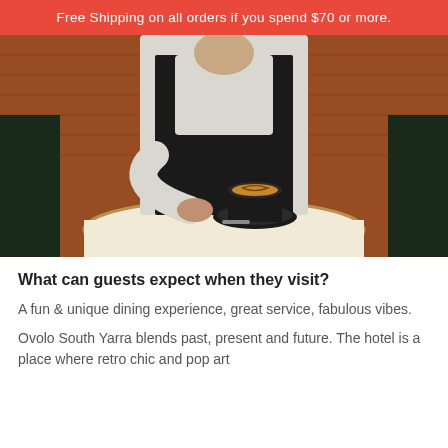Free Shipping on all orders if you spend $70 or more.
[Figure (photo): A person wearing a black vest over a white long-sleeve shirt, seated at a table with a cup of coffee on a black saucer, in a restaurant setting with warm brown booth seating in the background.]
What can guests expect when they visit?
A fun & unique dining experience, great service, fabulous vibes.
Ovolo South Yarra blends past, present and future. The hotel is a place where retro chic and pop art